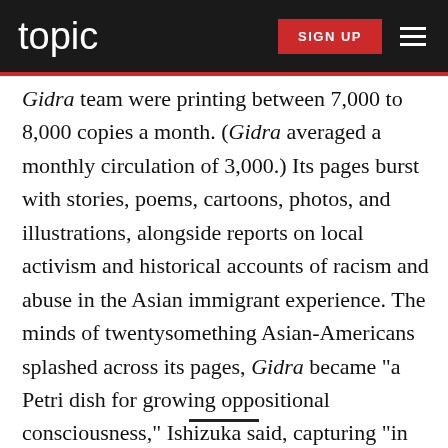topic | SIGN UP
Gidra team were printing between 7,000 to 8,000 copies a month. (Gidra averaged a monthly circulation of 3,000.) Its pages burst with stories, poems, cartoons, photos, and illustrations, alongside reports on local activism and historical accounts of racism and abuse in the Asian immigrant experience. The minds of twentysomething Asian-Americans splashed across its pages, Gidra became “a Petri dish for growing oppositional consciousness,” Ishizuka said, capturing “in real time the passions and issues that were affecting people on the ground as it was happening.”